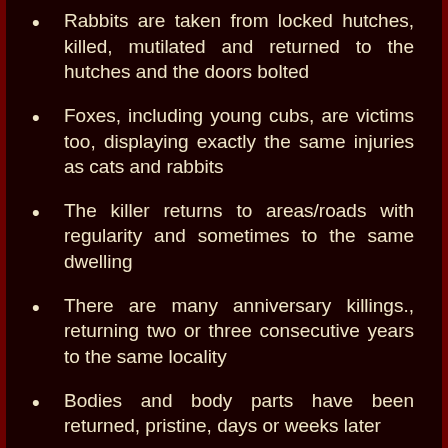Rabbits are taken from locked hutches, killed, mutilated and returned to the hutches and the doors bolted
Foxes, including young cubs, are victims too, displaying exactly the same injuries as cats and rabbits
The killer returns to areas/roads with regularity and sometimes to the same dwelling
There are many anniversary killings., returning two or three consecutive years to the same locality
Bodies and body parts have been returned, pristine, days or weeks later
To our knowledge, there have been no similar mutilation cases reported in Scotland, Ireland, Wales or the West Country. The vast majority of cases are in the M25 area and South East